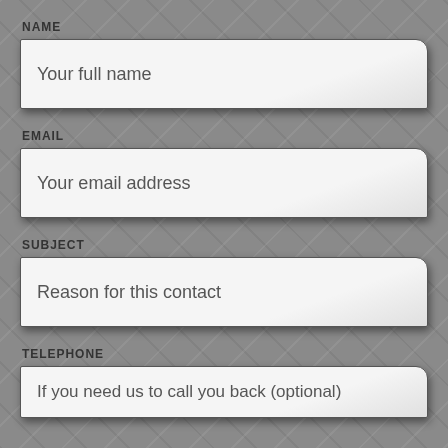NAME
Your full name
EMAIL
Your email address
SUBJECT
Reason for this contact
TELEPHONE
If you need us to call you back (optional)